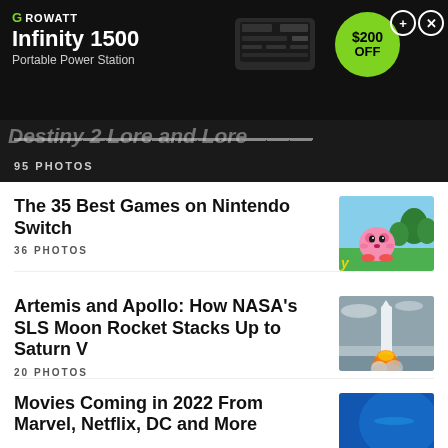[Figure (photo): Growatt Infinity 1500 Portable Power Station advertisement banner with product image and $200 OFF green circle discount badge]
95 PHOTOS
The 35 Best Games on Nintendo Switch
36 PHOTOS
[Figure (photo): Kirby character from Nintendo Switch game standing on green grass with colorful background]
Artemis and Apollo: How NASA's SLS Moon Rocket Stacks Up to Saturn V
20 PHOTOS
[Figure (photo): NASA SLS rocket launching with flames and smoke]
Movies Coming in 2022 From Marvel, Netflix, DC and More
[Figure (photo): Blue toned cinematic movie still, partially visible]